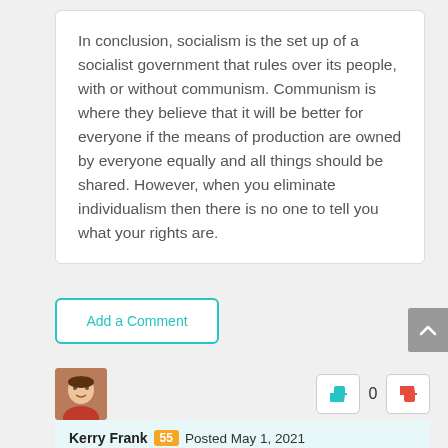In conclusion, socialism is the set up of a socialist government that rules over its people, with or without communism. Communism is where they believe that it will be better for everyone if the means of production are owned by everyone equally and all things should be shared. However, when you eliminate individualism then there is no one to tell you what your rights are.
Add a Comment
Kerry Frank  55  Posted May 1, 2021
0 Comments
Most people think communism is just a synonym for socialism, but it's not